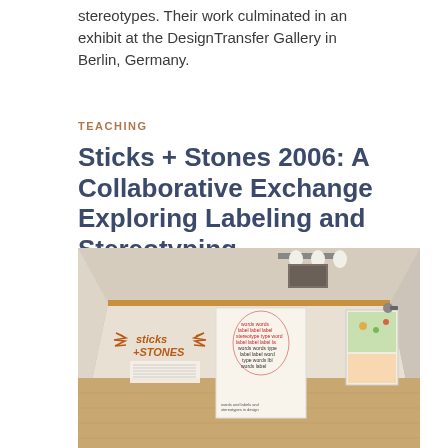stereotypes. Their work culminated in an exhibit at the DesignTransfer Gallery in Berlin, Germany.
TEACHING
Sticks + Stones 2006: A Collaborative Exchange Exploring Labeling and Stereotyping
[Figure (photo): Interior of a gallery room with wooden floors and white walls. On the left wall is the 'sticks + stones' exhibit logo in orange/brown. In the center hangs a large white poster with a red and black portrait made of text/type. On the right wall hangs a colorful illustrated poster. Track lighting is visible on the ceiling.]